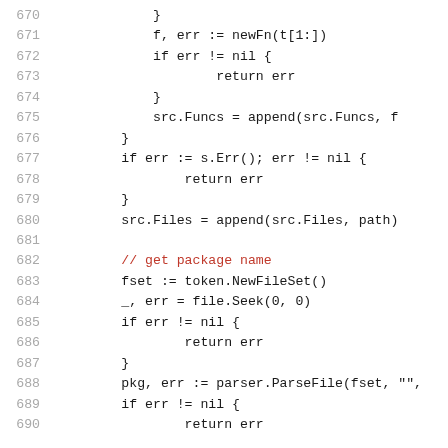670   }
671   f, err := newFn(t[1:])
672   if err != nil {
673           return err
674   }
675   src.Funcs = append(src.Funcs, f
676   }
677   if err := s.Err(); err != nil {
678           return err
679   }
680   src.Files = append(src.Files, path)
681   
682   // get package name
683   fset := token.NewFileSet()
684   _, err = file.Seek(0, 0)
685   if err != nil {
686           return err
687   }
688   pkg, err := parser.ParseFile(fset, "",
689   if err != nil {
690           return err